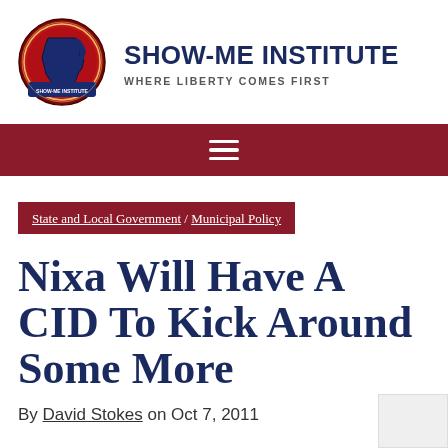[Figure (logo): Show-Me Institute circular logo with Missouri state outline in dark blue on red background with decorative border]
SHOW-ME INSTITUTE
WHERE LIBERTY COMES FIRST
[Figure (other): Dark red navigation bar with hamburger menu icon]
State and Local Government / Municipal Policy
Nixa Will Have A CID To Kick Around Some More
By David Stokes on Oct 7, 2011